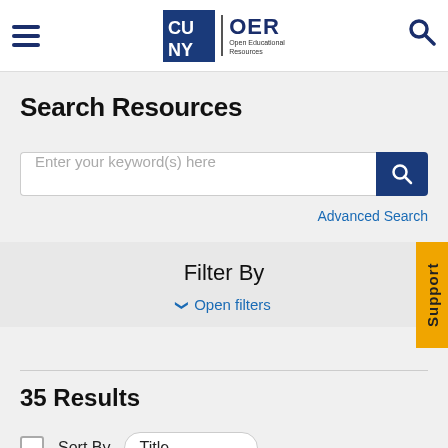[Figure (logo): CUNY OER Open Educational Resources logo with hamburger menu and search icon in header]
Search Resources
Enter your keyword(s) here
Advanced Search
Filter By
Open filters
Support
35 Results
Sort By   Title